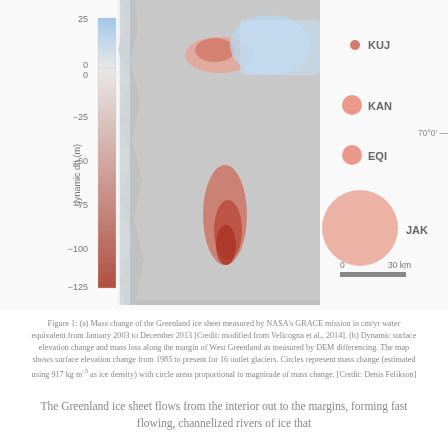[Figure (map): Map of West Greenland showing dynamic surface elevation change (dynamic dh in meters) from a color scale ranging from -125 (dark red/brown) to +25 (blue). A vertical colorbar on the left shows the scale. Legend circles on the right side label glaciers KUJ (small dot), KAN (medium dot), EQI (medium dot), and JAK (large circle, pink), representing mass change. Latitude label 70°0' shown. Scale bar showing 0 to 30 km at bottom right.]
Figure 1: (a) Mass change of the Greenland ice sheet measured by NASA's GRACE mission in cm/yr water equivalent from January 2003 to December 2013 [Credit: modified from Velicogna et al., 2014]. (b) Dynamic surface elevation change and mass loss along the margin of West Greenland as measured by DEM differencing. The map shows surface elevation change from 1985 to present for 16 outlet glaciers. Circles represent mass change (estimated using 917 kg m-3 as ice density) with circle areas proportional to magnitude of mass change. [Credit: Denis Felikson]
The Greenland ice sheet flows from the interior out to the margins, forming fast flowing, channelized rivers of ice that